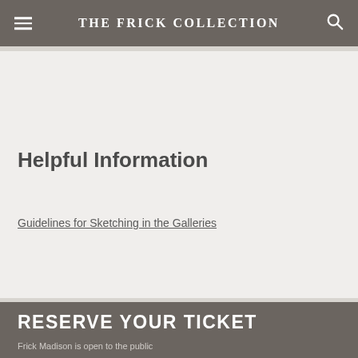THE FRICK COLLECTION
Helpful Information
Guidelines for Sketching in the Galleries
RESERVE YOUR TICKET
Frick Madison is open to the public